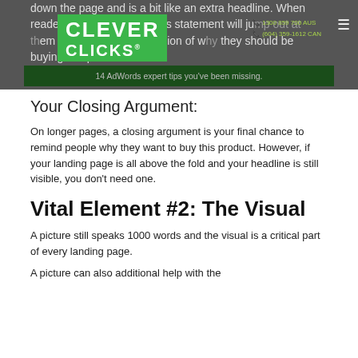[Figure (screenshot): Website header with Clever Clicks logo (green background), phone numbers, hamburger menu icon, and a dark green banner reading '14 AdWords expert tips you've been missing.']
down the page and is a bit like an extra headline. When readers scan your page, this statement will jump out at them and reinforce their notion of why they should be buying this product.
Your Closing Argument:
On longer pages, a closing argument is your final chance to remind people why they want to buy this product. However, if your landing page is all above the fold and your headline is still visible, you don't need one.
Vital Element #2: The Visual
A picture still speaks 1000 words and the visual is a critical part of every landing page.
A picture can also additional help with the